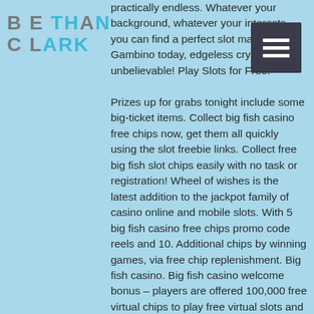BETHAN CLARK
practically endless. Whatever your background, whatever your interests, you can find a perfect slot machine at Gambino today, edgeless crypto thrill is unbelievable! Play Slots for Free. Prizes up for grabs tonight include some big-ticket items. Collect big fish casino free chips now, get them all quickly using the slot freebie links. Collect free big fish slot chips easily with no task or registration! Wheel of wishes is the latest addition to the jackpot family of casino online and mobile slots. With 5 big fish casino free chips promo code reels and 10. Additional chips by winning games, via free chip replenishment. Big fish casino. Big fish casino welcome bonus – players are offered 100,000 free virtual chips to play free virtual slots and table games such as blackjack, roulette, and texas. Russia is not one of the biggest exporters of seafood to the u. , but it's a world leader in exports of cod (the preference for fish and chips. Big